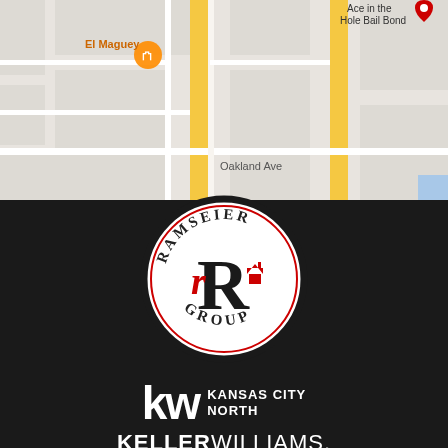[Figure (map): Google Maps screenshot showing street map with El Maguey restaurant marked in orange, Ace in the Hole Bail Bond location, Oakland Ave street label, and yellow road lines]
[Figure (logo): Ramseier Group logo - circular emblem with black and red 'rR' monogram and house icon, text 'RAMSEIER GROUP' around the circle border]
[Figure (logo): Keller Williams logo - 'kw' in large white letters with 'KANSAS CITY NORTH' text and 'KELLERWILLIAMS.' wordmark in white on dark background]